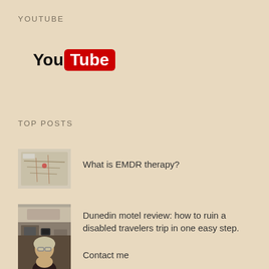YOUTUBE
[Figure (logo): YouTube logo with 'You' in black bold text and 'Tube' in white bold text on a red rounded rectangle background]
TOP POSTS
[Figure (photo): Small thumbnail image resembling a map]
What is EMDR therapy?
[Figure (photo): Small thumbnail image showing a room interior with a phone]
Dunedin motel review: how to ruin a disabled travelers trip in one easy step.
[Figure (photo): Small thumbnail photo of a woman with glasses]
Contact me